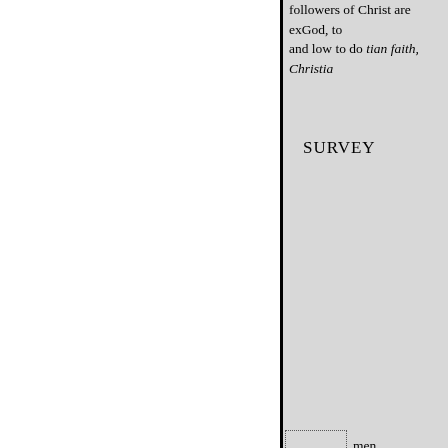followers of Christ are exGod, to and low to do tian faith, Christia
SURVEY
ers.    men
I conceive nothing more dan- the misapplica. spect to the Chri its ene- the high authority, which divine form and dress, has minds consistent with pruhearts of beli men, quite consistent with their rejected. In itself it has a They th reverence and tellectual faculties due to the word of God, but with reason, to conscience, it what arg favourite tenets. "Wicked men